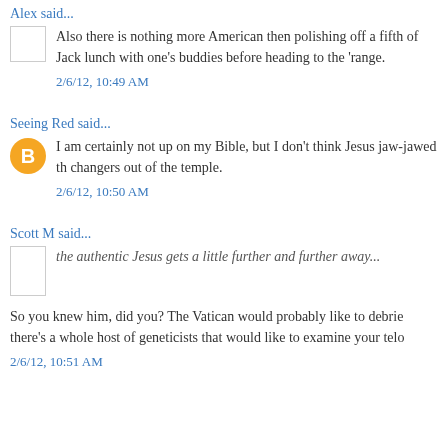Alex said...
Also there is nothing more American then polishing off a fifth of Jack lunch with one's buddies before heading to the 'range.
2/6/12, 10:49 AM
Seeing Red said...
I am certainly not up on my Bible, but I don't think Jesus jaw-jawed th changers out of the temple.
2/6/12, 10:50 AM
Scott M said...
the authentic Jesus gets a little further and further away...
So you knew him, did you? The Vatican would probably like to debrie there's a whole host of geneticists that would like to examine your telo
2/6/12, 10:51 AM